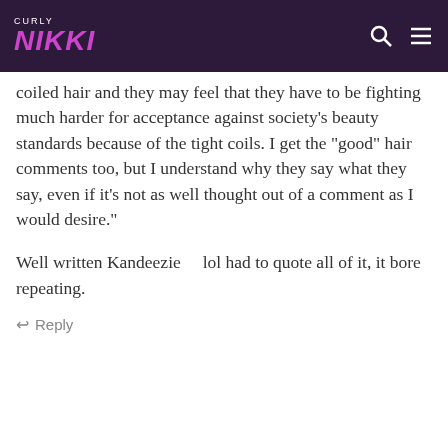CURLY NIKKI
coiled hair and they may feel that they have to be fighting much harder for acceptance against society's beauty standards because of the tight coils. I get the "good" hair comments too, but I understand why they say what they say, even if it's not as well thought out of a comment as I would desire."
Well written Kandeezie    lol had to quote all of it, it bore repeating.
Reply